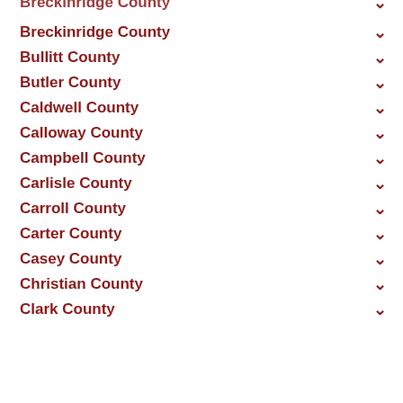Breckinridge County
Bullitt County
Butler County
Caldwell County
Calloway County
Campbell County
Carlisle County
Carroll County
Carter County
Casey County
Christian County
Clark County